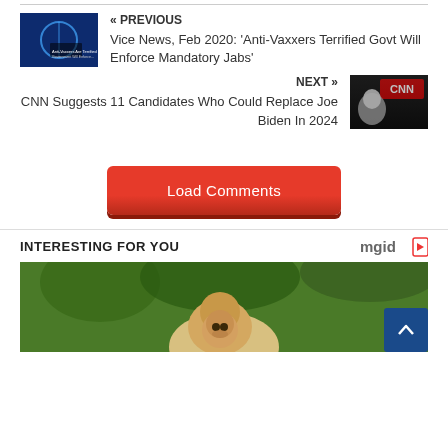« PREVIOUS
Vice News, Feb 2020: 'Anti-Vaxxers Terrified Govt Will Enforce Mandatory Jabs'
NEXT »
CNN Suggests 11 Candidates Who Could Replace Joe Biden In 2024
Load Comments
INTERESTING FOR YOU
[Figure (photo): Blonde woman outdoors with trees in background]
[Figure (logo): mgid logo with arrow icon]